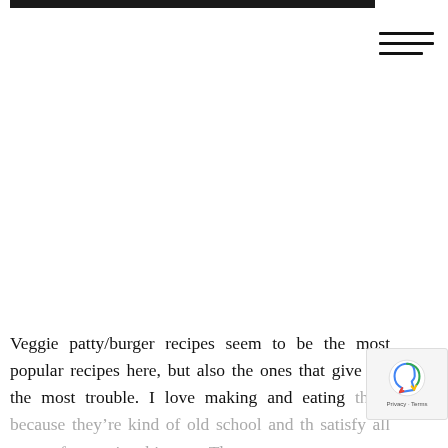[Figure (photo): Dark photo strip at the top of the page, partially cropped]
[Figure (other): Hamburger menu icon (three horizontal lines) in the top right corner]
Veggie patty/burger recipes seem to be the most popular recipes here, but also the ones that give me the most trouble. I love making and eating them because they’re kind of old school and th satisfy all types of eaters in a big way. They generally freeze well for future lazy dinner
[Figure (other): reCAPTCHA badge in the bottom right corner with Google reCAPTCHA logo and Privacy + Terms text]